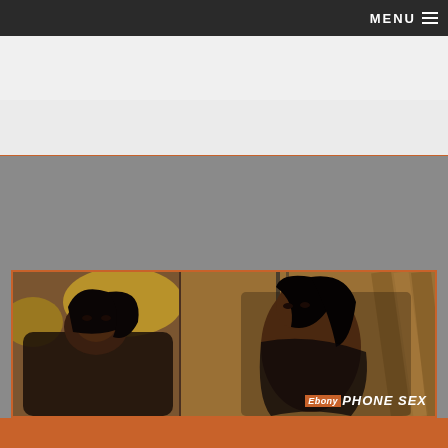MENU
[Figure (photo): Website screenshot with dark navigation bar at top showing MENU text and hamburger icon, light gray banner areas with orange horizontal dividing lines, gray content area, and two photos of women in lingerie side by side with orange border and 'Ebony PHONE SEX' branding overlay in bottom right]
Ebony PHONE SEX